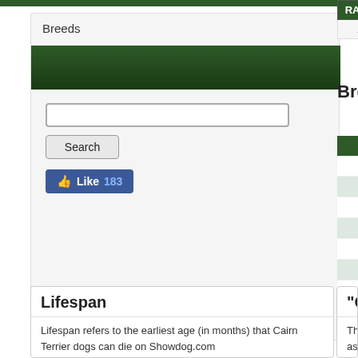Breeds
| RANK | USERNAME | SCO... |
| --- | --- | --- |
| 1 | GraceInGlory |  |
Breed Scale of Points
| TRAIT |
| --- |
| He... |
| Forequa... |
| Hindqua... |
| C... |
| Top Neck and Ba... |
| C... |
| S... |
| F... |
| Gene... |
Lifespan
Lifespan refers to the earliest age (in months) that Cairn Terrier dogs can die on Showdog.com
"General"
The "General" fac... as show shine an... other genetic trai...